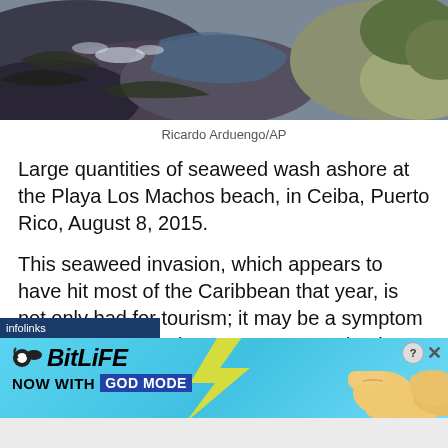[Figure (photo): Aerial or close-up view of seaweed washed ashore on a beach, showing dark rocky/seaweed-covered shoreline with some sandy and green areas visible]
Ricardo Arduengo/AP
Large quantities of seaweed wash ashore at the Playa Los Machos beach, in Ceiba, Puerto Rico, August 8, 2015.
This seaweed invasion, which appears to have hit most of the Caribbean that year, is not only bad for tourism; it may be a symptom of global climate change, as some scientists believe the onslaught of
[Figure (screenshot): BitLife advertisement banner: 'NOW WITH GOD MODE' on a cyan/light blue background with cartoon hand pointing fingers graphic and ad controls (?, X buttons). Infolinks label visible at top of ad.]